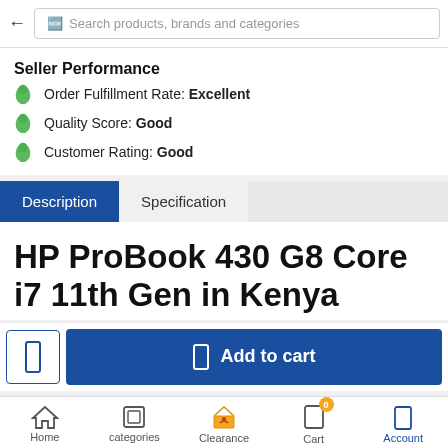Search products, brands and categories
Seller Performance
Order Fulfillment Rate: Excellent
Quality Score: Good
Customer Rating: Good
Description | Specification
HP ProBook 430 G8 Core i7 11th Gen in Kenya
Add to cart
Home  categories  Clearance  Cart  Account